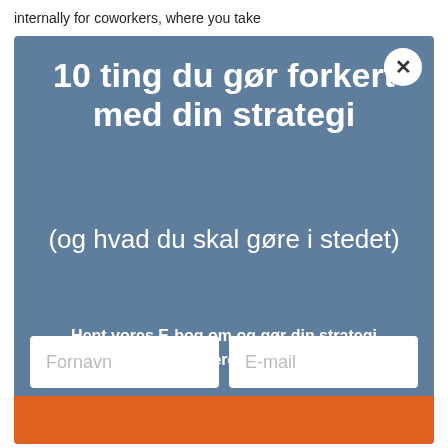internally for coworkers, where you take
10 ting du gør forkert med din strategi
(og hvad du skal gøre i stedet)
Hent vores E-bog om og gør din strategi bedre allerede i dag.
Fornavn
E-mail